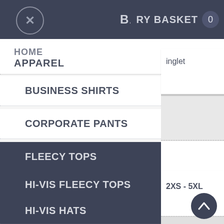BACK  RY BASKET 0
HOME
APPAREL
BUSINESS SHIRTS
inglet
CORPORATE PANTS
FLEECY TOPS
HI-VIS FLEECY TOPS
2XS - 5XL
HI-VIS HATS
HOODIES
JACKETS